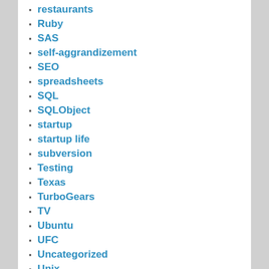restaurants
Ruby
SAS
self-aggrandizement
SEO
spreadsheets
SQL
SQLObject
startup
startup life
subversion
Testing
Texas
TurboGears
TV
Ubuntu
UFC
Uncategorized
Unix
Venture Brothers
vim